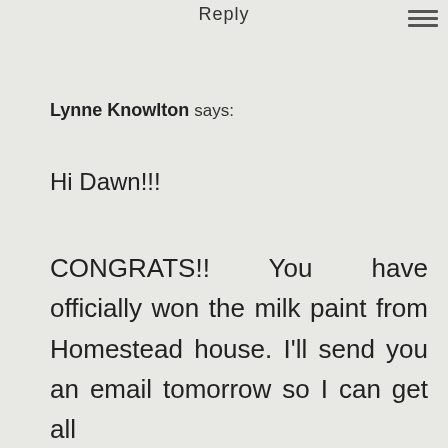Reply
Lynne Knowlton says:
Hi Dawn!!!
CONGRATS!!  You  have officially won the milk paint from Homestead house. I'll send you an email tomorrow so I can get all